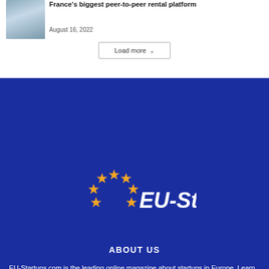[Figure (photo): Two people sitting together, partial photo visible at top left]
France's biggest peer-to-peer rental platform
August 16, 2022
Load more
[Figure (logo): EU-Startups logo with gold stars arranged in arc and white italic text on dark blue background]
ABOUT US
EU-Startups.com is the leading online magazine about startups in Europe. Learn more about us and our advertising options.